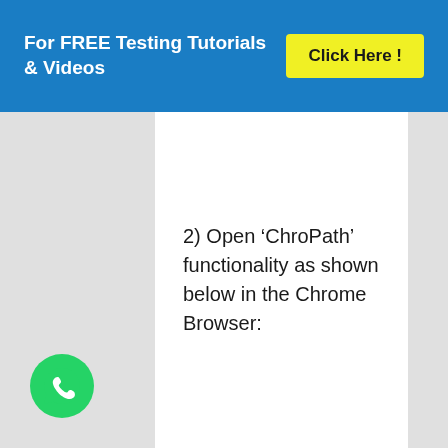For FREE Testing Tutorials & Videos  Click Here !
2) Open ‘ChroPath’ functionality as shown below in the Chrome Browser:
[Figure (illustration): Green WhatsApp floating action button icon at bottom left corner]